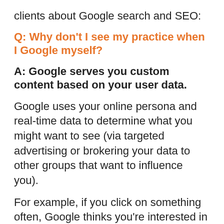clients about Google search and SEO:
Q: Why don't I see my practice when I Google myself?
A: Google serves you custom content based on your user data.
Google uses your online persona and real-time data to determine what you might want to see (via targeted advertising or brokering your data to other groups that want to influence you).
For example, if you click on something often, Google thinks you're interested in it. The more you click on something, the more (and higher)